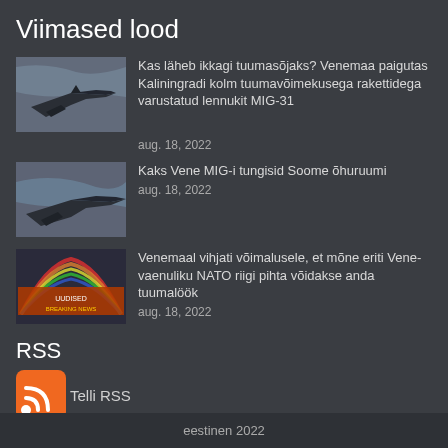Viimased lood
[Figure (photo): Fighter jet aircraft photo thumbnail]
Kas läheb ikkagi tuumasõjaks? Venemaa paigutas Kaliningradi kolm tuumavõimekusega rakettidega varustatud lennukit MIG-31
aug. 18, 2022
[Figure (photo): Military aircraft photo thumbnail]
Kaks Vene MIG-i tungisid Soome õhuruumi
aug. 18, 2022
[Figure (photo): NATO/news graphic thumbnail]
Venemaal vihjati võimalusele, et mõne eriti Vene-vaenuliku NATO riigi pihta võidakse anda tuumalöök
aug. 18, 2022
RSS
[Figure (logo): RSS feed icon orange]
Telli RSS
eestinen 2022